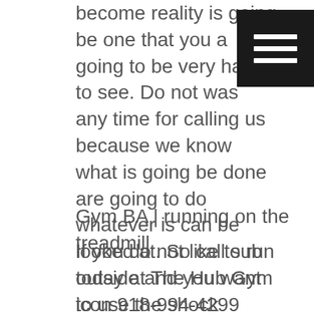become reality is going be one that you are going to be very happy to see. Do not waste any time for calling us because we know what is going be done are going to do whatever is can be looked at. So call sub today at The Hub Gym icon 918-994-4299 going online to www.thehubgym.com.
[Figure (other): Black square menu/hamburger icon with three white horizontal lines]
Gym BA | running on the treadmill.
If you do not like to run outside and you want to use the shock absorbers that are going to be here on the treadmills you can do that when you partner with us today. So call sub to learn more about how we are going to work out to make sure that you are going to